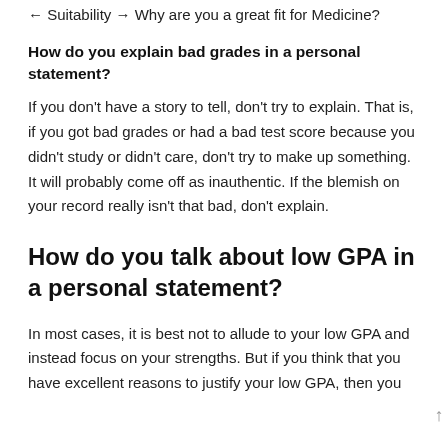← Suitability → Why are you a great fit for Medicine?
How do you explain bad grades in a personal statement?
If you don't have a story to tell, don't try to explain. That is, if you got bad grades or had a bad test score because you didn't study or didn't care, don't try to make up something. It will probably come off as inauthentic. If the blemish on your record really isn't that bad, don't explain.
How do you talk about low GPA in a personal statement?
In most cases, it is best not to allude to your low GPA and instead focus on your strengths. But if you think that you have excellent reasons to justify your low GPA, then you should mention that in the personal statement.